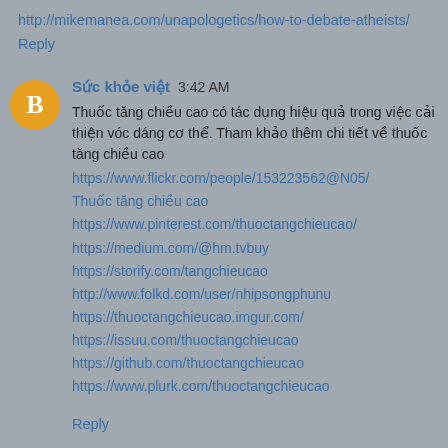http://mikemanea.com/unapologetics/how-to-debate-atheists/
Reply
Sức khỏe việt  3:42 AM
Thuốc tăng chiều cao có tác dụng hiệu quả trong việc cải thiện vóc dáng cơ thể. Tham khảo thêm chi tiết về thuốc tăng chiều cao
https://www.flickr.com/people/153223562@N05/
Thuốc tăng chiều cao
https://www.pinterest.com/thuoctangchieucao/
https://medium.com/@hm.tvbuy
https://storify.com/tangchieucao
http://www.folkd.com/user/nhipsongphunu
https://thuoctangchieucao.imgur.com/
https://issuu.com/thuoctangchieucao
https://github.com/thuoctangchieucao
https://www.plurk.com/thuoctangchieucao
Reply